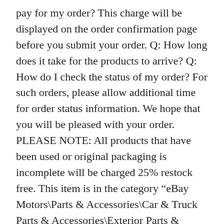pay for my order? This charge will be displayed on the order confirmation page before you submit your order. Q: How long does it take for the products to arrive? Q: How do I check the status of my order? For such orders, please allow additional time for order status information. We hope that you will be pleased with your order. PLEASE NOTE: All products that have been used or original packaging is incomplete will be charged 25% restock free. This item is in the category “eBay Motors\Parts & Accessories\Car & Truck Parts & Accessories\Exterior Parts & Accessories\Body Moldings & Trims”. The seller is “auto-interior-trim” and is located in this country: US. This item can be shipped to United States.
Brand: TESIN
Manufacturer Part Number: